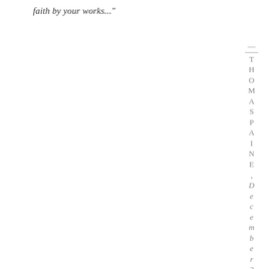faith by your works..."
— Thomas Paine, December 23, 1